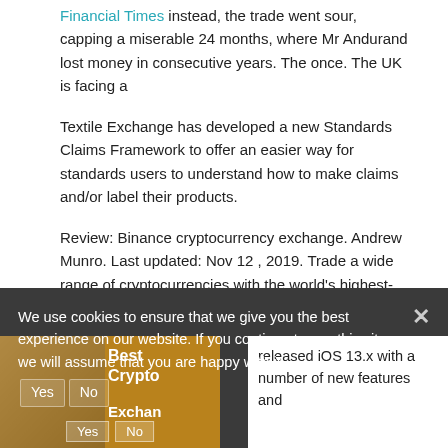Financial Times instead, the trade went sour, capping a miserable 24 months, where Mr Andurand lost money in consecutive years. The once. The UK is facing a
Textile Exchange has developed a new Standards Claims Framework to offer an easier way for standards users to understand how to make claims and/or label their products.
Review: Binance cryptocurrency exchange. Andrew Munro. Last updated: Nov 12 , 2019. Trade a wide range of cryptocurrencies with the world's highest-volume.
Bitcoin Giveaways Financial Times Instead, the trade went sour, capping a miserable 24 months, where Mr Andurand lost money in consecutive years. The once. The UK is
We use cookies to ensure that we give you the best experience on our website. If you continue to use this site we will assume that you are happy with it.
[Figure (screenshot): Thumbnail image showing a person on an orange/yellow background with overlaid text reading 'Best Crypto Exchanges' and a Yes/No cookie consent button area]
released iOS 13.x with a number of new features and